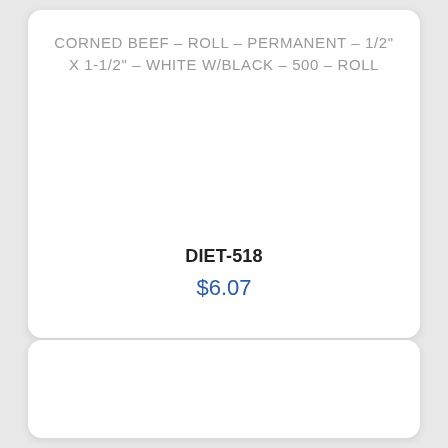CORNED BEEF - ROLL - PERMANENT - 1/2" X 1-1/2" - WHITE W/BLACK - 500 - ROLL
DIET-518
$6.07
[Figure (illustration): Two circular icon buttons: first with a right-pointing arrow, second with a shopping cart plus icon, both in blue outline style.]